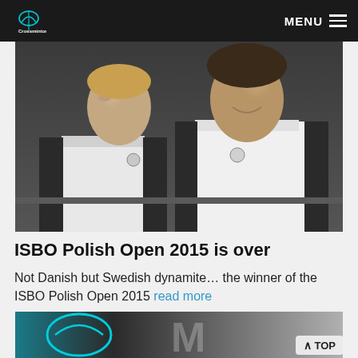Crossminton — MENU
[Figure (photo): Two men wearing white Lotto brand sports jackets standing together, smiling, outdoors with a dark background]
ISBO Polish Open 2015 is over
Not Danish but Swedish dynamite… the winner of the ISBO Polish Open 2015 read more
[Figure (photo): Partial view of a second article image showing a crossminton logo and blurred background, partially cut off at the page bottom]
TOP